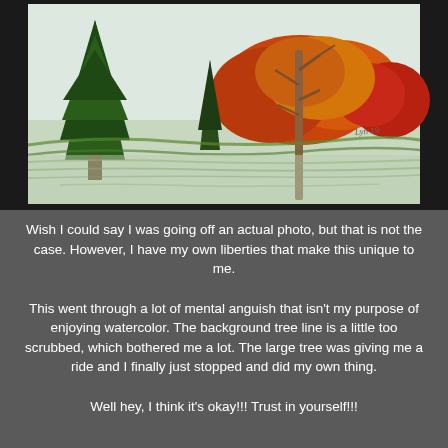[Figure (illustration): A watercolor painting of an autumn landscape with trees including a tall evergreen on the left, colorful fall foliage in red, orange, and yellow in the background, and a bare tree trunk on the right. The painting is signed 'Lyn 19' in the lower right. The painting is framed with a dark/black border.]
Wish I could say I was going off an actual photo, but that is not the case.  However, I have my own liberties that make this unique to me.
This went through a lot of mental anguish that isn't my purpose of enjoying watercolor.  The background tree line is a little too scrubbed, which bothered me a lot.  The large tree was giving me a ride and I finally just stopped and did my own thing.
Well hey, I think it's okay!!!  Trust in yourself!!!